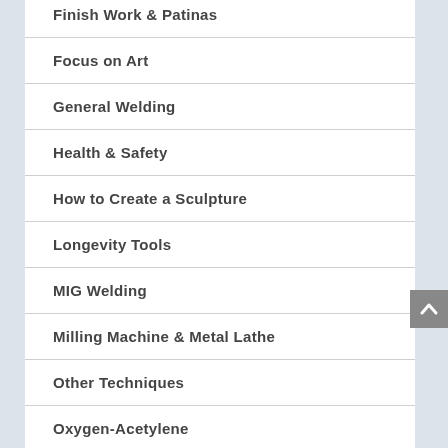Finish Work & Patinas
Focus on Art
General Welding
Health & Safety
How to Create a Sculpture
Longevity Tools
MIG Welding
Milling Machine & Metal Lathe
Other Techniques
Oxygen-Acetylene